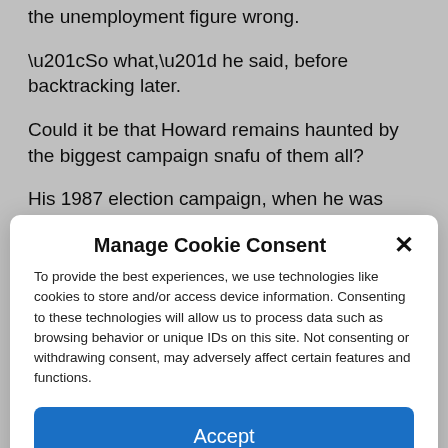the unemployment figure wrong.
“So what,” he said, before backtracking later.
Could it be that Howard remains haunted by the biggest campaign snafu of them all?
His 1987 election campaign, when he was
Manage Cookie Consent
To provide the best experiences, we use technologies like cookies to store and/or access device information. Consenting to these technologies will allow us to process data such as browsing behavior or unique IDs on this site. Not consenting or withdrawing consent, may adversely affect certain features and functions.
Accept
Cookie Policy